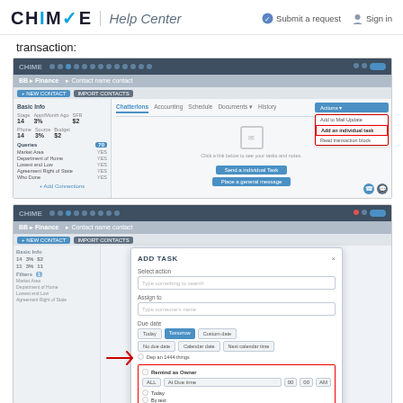CHIME Help Center
transaction:
[Figure (screenshot): Screenshot of Chime CRM interface showing a contact record with tabs: ChatterIons, Accounting, Schedule, Documents, History. A dropdown menu is visible on the right with options: Add an Individual Task, Read transaction block. A red rectangle highlights the 'Add an individual task' option.]
[Figure (screenshot): Screenshot of Chime CRM interface showing an 'ADD TASK' modal dialog. Fields include: Select action, Assign to, Due date (with Today, Tomorrow, Custom Date, No due date, Calendar date options). A red arrow points to 'Remind as Owner' checkbox with options: ALL, At Due time (hours/minutes selector), Today, By text, By SMS. The relevant section is highlighted with a red rectangle.]